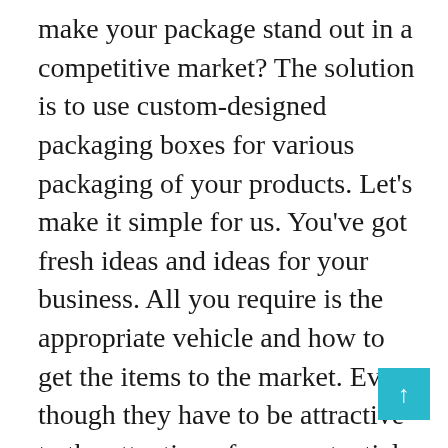make your package stand out in a competitive market? The solution is to use custom-designed packaging boxes for various packaging of your products. Let's make it simple for us. You've got fresh ideas and ideas for your business. All you require is the appropriate vehicle and how to get the items to the market. Even though they have to be attractive to the attention of your potential clients. Candle packaging boxes made of cardboard are the most effective arrangement for this scenario. Why? Because this